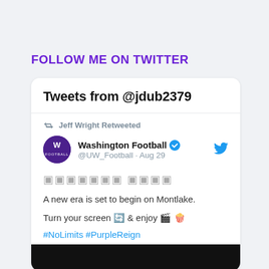FOLLOW ME ON TWITTER
Tweets from @jdub2379
Jeff Wright Retweeted
Washington Football @UW_Football · Aug 29
🏈🏈🏈🏈🏈🏈🏈 🏈🏈🏈🏈
A new era is set to begin on Montlake.
Turn your screen 🔄 & enjoy 🎬 🍿
#NoLimits #PurpleReign
[Figure (screenshot): Black video thumbnail at bottom of tweet card]